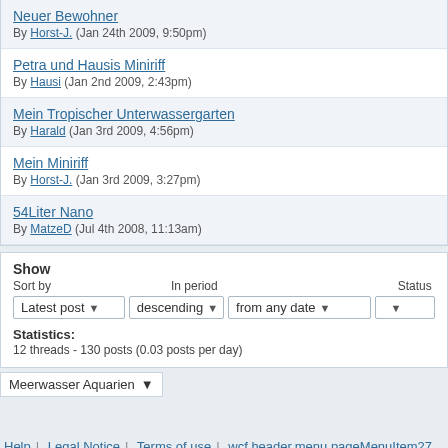Neuer Bewohner
By Horst-J. (Jan 24th 2009, 9:50pm)
Petra und Hausis Miniriff
By Hausi (Jan 2nd 2009, 2:43pm)
Mein Tropischer Unterwassergarten
By Harald (Jan 3rd 2009, 4:56pm)
Mein Miniriff
By Horst-J. (Jan 3rd 2009, 3:27pm)
54Liter Nano
By MatzeD (Jul 4th 2008, 11:13am)
Show
Sort by | In period | Status
Latest post descending | from any date
Statistics:
12 threads - 130 posts (0.03 posts per day)
Meerwasser Aquarien
Help | Legal Notice | Terms of use | wcf.header.menu.pageMenuItem27
Forum Software: Burning Board® 3.1.4, develope